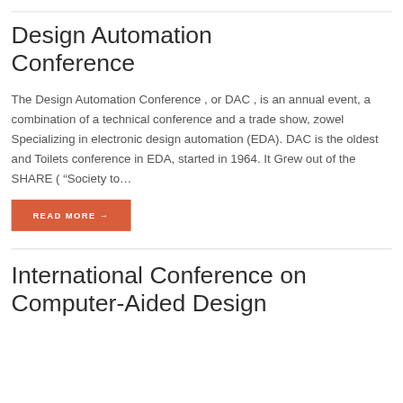Design Automation Conference
The Design Automation Conference , or DAC , is an annual event, a combination of a technical conference and a trade show, zowel Specializing in electronic design automation (EDA). DAC is the oldest and Toilets conference in EDA, started in 1964. It Grew out of the SHARE ( “Society to…
READ MORE →
International Conference on Computer-Aided Design